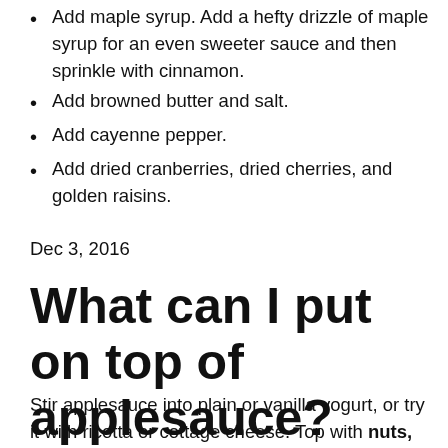Add maple syrup. Add a hefty drizzle of maple syrup for an even sweeter sauce and then sprinkle with cinnamon.
Add browned butter and salt.
Add cayenne pepper.
Add dried cranberries, dried cherries, and golden raisins.
Dec 3, 2016
What can I put on top of applesauce?
Stir applesauce into plain or vanilla yogurt, or try it with ricotta or cottage cheese. Top with nuts, dried fruits, whole grain cereal or granola. Eat applesauce with a